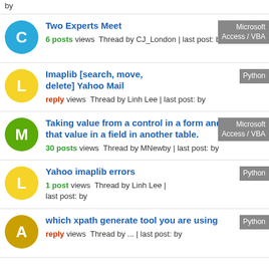by
Two Experts Meet — 6 posts views Thread by CJ_London | last post: by — Tag: Microsoft Access / VBA
Imaplib [search, move, delete] Yahoo Mail — reply views Thread by Linh Lee | last post: by — Tag: Python
Taking value from a control in a form and place that value in a field in another table. — 30 posts views Thread by MNewby | last post: by — Tag: Microsoft Access / VBA
Yahoo imaplib errors — 1 post views Thread by Linh Lee | last post: by — Tag: Python
which xpath generate tool you are using — reply views Thread by ... | last post: by — Tag: Python